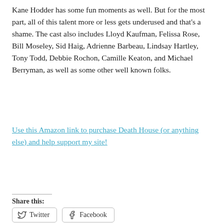Kane Hodder has some fun moments as well. But for the most part, all of this talent more or less gets underused and that's a shame. The cast also includes Lloyd Kaufman, Felissa Rose, Bill Moseley, Sid Haig, Adrienne Barbeau, Lindsay Hartley, Tony Todd, Debbie Rochon, Camille Keaton, and Michael Berryman, as well as some other well known folks.
Use this Amazon link to purchase Death House (or anything else) and help support my site!
Share this: